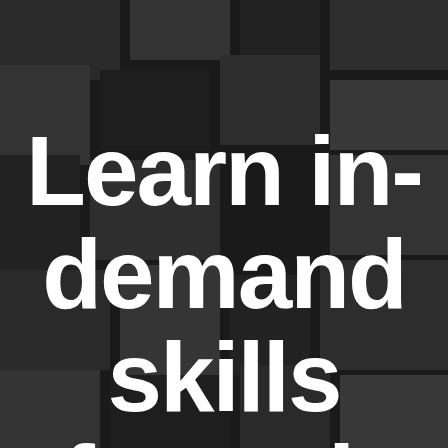[Figure (illustration): Dark mosaic/checkerboard background made of dark grey and black rectangular tiles of varying sizes, with large bold white text overlaid reading 'Learn in-demand skills from the']
Learn in-demand skills from the